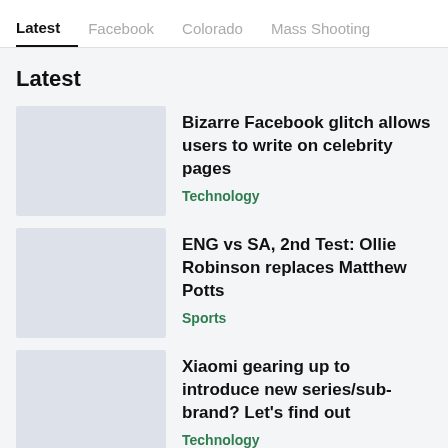Latest | Facebook | Colorado | Mass Shooting
Latest
Bizarre Facebook glitch allows users to write on celebrity pages — Technology
ENG vs SA, 2nd Test: Ollie Robinson replaces Matthew Potts — Sports
Xiaomi gearing up to introduce new series/sub-brand? Let's find out — Technology
Premier League 2022-23: Harry Kane has these records within sight — Sports